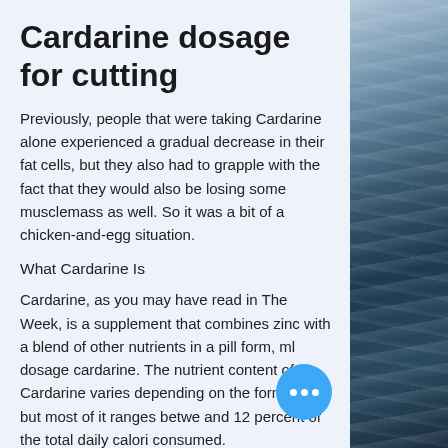Cardarine dosage for cutting
Previously, people that were taking Cardarine alone experienced a gradual decrease in their fat cells, but they also had to grapple with the fact that they would also be losing some musclemass as well. So it was a bit of a chicken-and-egg situation.
What Cardarine Is
Cardarine, as you may have read in The Week, is a supplement that combines zinc with a blend of other nutrients in a pill form, ml dosage cardarine. The nutrient content of Cardarine varies depending on the formulation but most of it ranges betwe and 12 percent of the total daily calori consumed.
[Figure (photo): Dark ocean water texture photograph along the right edge of the page]